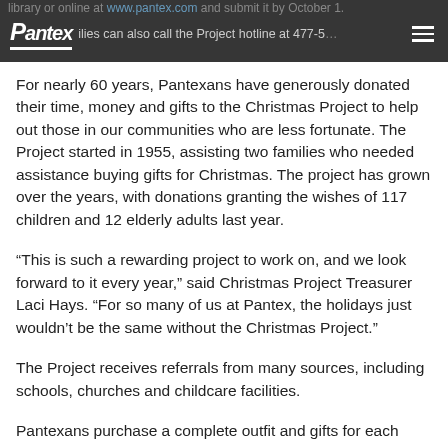library or online at www.pantex.com and submit it by October 1. Families can also call the Project hotline at 477-5...
For nearly 60 years, Pantexans have generously donated their time, money and gifts to the Christmas Project to help out those in our communities who are less fortunate. The Project started in 1955, assisting two families who needed assistance buying gifts for Christmas. The project has grown over the years, with donations granting the wishes of 117 children and 12 elderly adults last year.
“This is such a rewarding project to work on, and we look forward to it every year,” said Christmas Project Treasurer Laci Hays. “For so many of us at Pantex, the holidays just wouldn’t be the same without the Christmas Project.”
The Project receives referrals from many sources, including schools, churches and childcare facilities.
Pantexans purchase a complete outfit and gifts for each child. The Project also purchases a complete outfit and a necessity